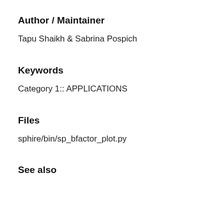Author / Maintainer
Tapu Shaikh & Sabrina Pospich
Keywords
Category 1:: APPLICATIONS
Files
sphire/bin/sp_bfactor_plot.py
See also